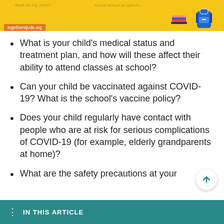[Figure (illustration): Yellow banner with togetherstjude.org URL label and school supply icons (books, backpack) in the top right corner]
What is your child's medical status and treatment plan, and how will these affect their ability to attend classes at school?
Can your child be vaccinated against COVID-19? What is the school's vaccine policy?
Does your child regularly have contact with people who are at risk for serious complications of COVID-19 (for example, elderly grandparents at home)?
What are the safety precautions at your
IN THIS ARTICLE